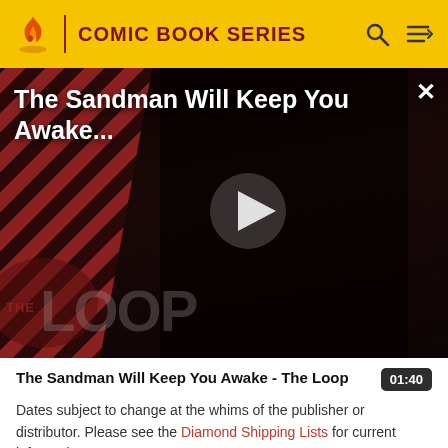COMIC BOOK SERIES
[Figure (screenshot): Video thumbnail showing The Sandman character in black costume against a dark red diagonal striped background with THE LOOP watermark. A white play button triangle is centered on the image. Title overlay reads 'The Sandman Will Keep You Awake...' with a close X button.]
The Sandman Will Keep You Awake - The Loop
01:40
Dates subject to change at the whims of the publisher or distributor. Please see the Diamond Shipping Lists for current information.